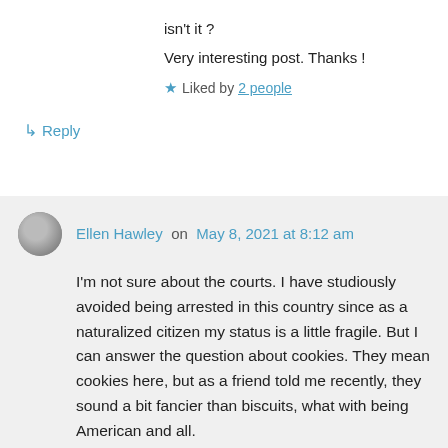isn't it ?
Very interesting post. Thanks !
★ Liked by 2 people
↳ Reply
Ellen Hawley on May 8, 2021 at 8:12 am
I'm not sure about the courts. I have studiously avoided being arrested in this country since as a naturalized citizen my status is a little fragile. But I can answer the question about cookies. They mean cookies here, but as a friend told me recently, they sound a bit fancier than biscuits, what with being American and all.